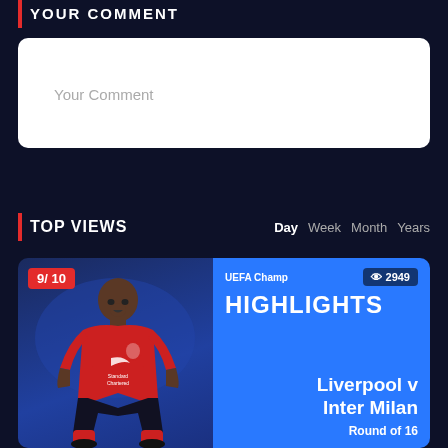YOUR COMMENT
Your Comment
REVIEW
TOP VIEWS
Day Week Month Years
[Figure (photo): Sports highlights card showing a Liverpool player in red jersey with UEFA Champions League branding, Liverpool v Inter Milan, Round of 16, rating 9/10, views 2949]
UEFA Champ
2949
HIGHLIGHTS
Liverpool v Inter Milan
Round of 16